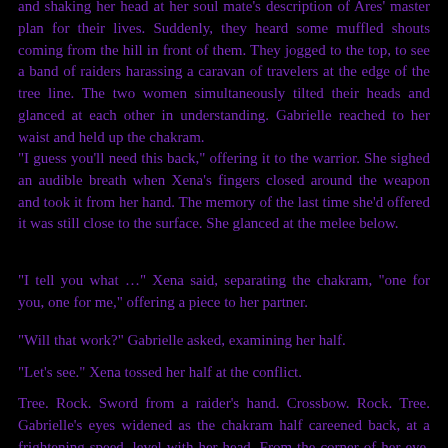and shaking her head at her soul mate's description of Ares' master plan for their lives. Suddenly, they heard some muffled shouts coming from the hill in front of them. They jogged to the top, to see a band of raiders harassing a caravan of travelers at the edge of the tree line. The two women simultaneously tilted their heads and glanced at each other in understanding. Gabrielle reached to her waist and held up the chakram.
"I guess you'll need this back," offering it to the warrior. She sighed an audible breath when Xena's fingers closed around the weapon and took it from her hand. The memory of the last time she'd offered it was still close to the surface. She glanced at the melee below.
"I tell you what ..." Xena said, separating the chakram, "one for you, one for me," offering a piece to her partner.
"Will that work?" Gabrielle asked, examining her half.
"Let's see." Xena tossed her half at the conflict.
Tree. Rock. Sword from a raider's hand. Crossbow. Rock. Tree. Gabrielle's eyes widened as the chakram half careened back, at a frightening speed, level with her head. From the corner of her eye, she could see her partner had no intention of catching it. The bard seized it out of the air, split seconds before it…